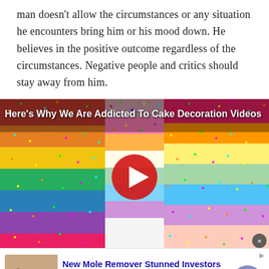man doesn't allow the circumstances or any situation he encounters bring him or his mood down. He believes in the positive outcome regardless of the circumstances. Negative people and critics should stay away from him.
[Figure (screenshot): Video thumbnail showing colorful sprinkle-covered cakes with a YouTube-style red play button in the center. Title reads: Here's Why We Are Addicted To Cake Decoration Videos]
[Figure (infographic): Advertisement banner: New Mole Remover Stunned Investors. Image of skin with moles on left, ad text in center, blue circle arrow button on right. URL: naturalhealthcures.net]